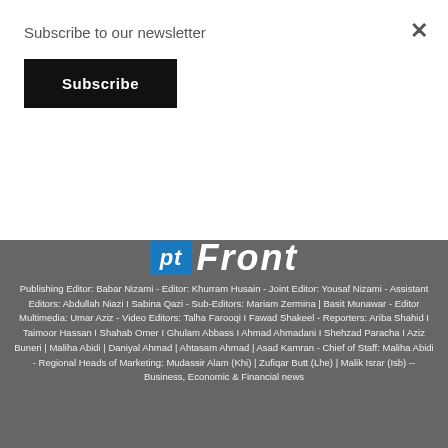Subscribe to our newsletter
Subscribe
[Figure (logo): pt Front logo — blue square with white italic 'pt' text followed by white italic bold 'Front' text on gray background]
Publishing Editor: Babar Nizami - Editor: Khurram Husain - Joint Editor: Yousaf Nizami - Assistant Editors: Abdullah Niazi I Sabina Qazi - Sub-Editors: Mariam Zermina | Basit Munawar - Editor Multimedia: Umar Aziz - Video Editors: Talha Farooqi I Fawad Shakeel - Reporters: Ariba Shahid I Taimoor Hassan I Shahab Omer I Ghulam Abbass I Ahmad Ahmadani I Shehzad Paracha I Aziz Buneri | Maliha Abidi | Daniyal Ahmad | Ahtasam Ahmad | Asad Kamran - Chief of Staff: Maliha Abidi - Regional Heads of Marketing: Mudassir Alam (Khi) | Zufiqar Butt (Lhe) | Malik Israr (Isb) -- Business, Economic & Financial news